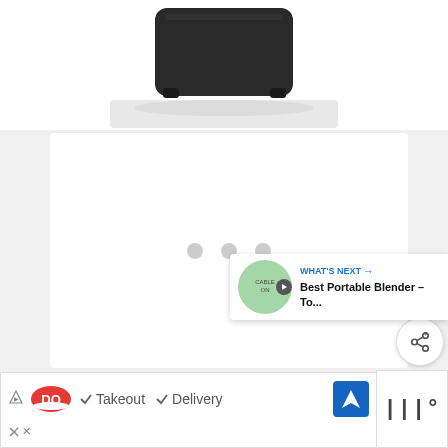[Figure (photo): Top portion of a dark/black blender or kitchen appliance shown from above on white background]
[Figure (screenshot): White card area with three gray loading dots in the center, indicating content is loading; heart/favorite button (blue circle) and share button (white circle) on right side]
WHAT'S NEXT → Best Portable Blender – To...
[Figure (screenshot): Advertisement banner for Dairy Queen (DQ) showing logo, checkmarks next to 'Takeout' and 'Delivery', a blue navigation icon, and tally/bar chart icon]